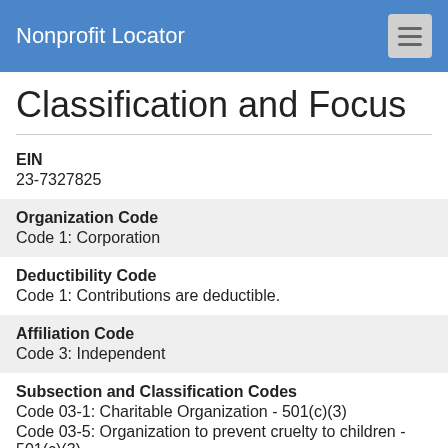Nonprofit Locator
Classification and Focus
EIN
23-7327825
Organization Code
Code 1: Corporation
Deductibility Code
Code 1: Contributions are deductible.
Affiliation Code
Code 3: Independent
Subsection and Classification Codes
Code 03-1: Charitable Organization - 501(c)(3)
Code 03-5: Organization to prevent cruelty to children - 501(c)(3)